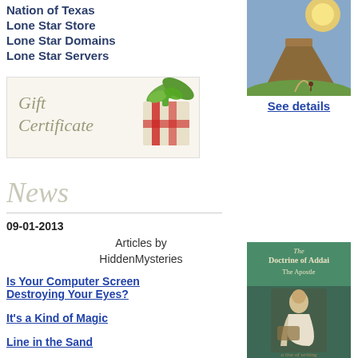Nation of Texas
Lone Star Store
Lone Star Domains
Lone Star Servers
[Figure (illustration): Illustrated landscape with mesa/butte, sky with sun halo, and a small figure on a path]
See details
[Figure (illustration): Gift Certificate banner with italic text 'Gift Certificate' and image of wrapped gift with bow]
News
09-01-2013
Articles by HiddenMysteries
Is Your Computer Screen Destroying Your Eyes?
It's a Kind of Magic
Line in the Sand
Fairy Tale Bible
[Figure (illustration): Book cover: 'The Doctrine of Addai The Apostle' with image of a seated robed figure]
See details